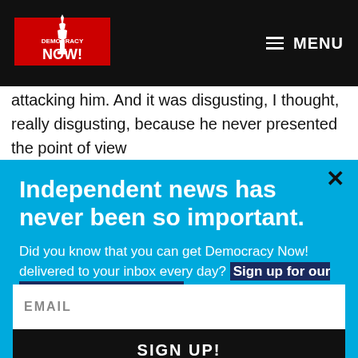Democracy Now! — MENU
attacking him. And it was disgusting, I thought, really disgusting, because he never presented the point of view
Independent news has never been so important.
Did you know that you can get Democracy Now! delivered to your inbox every day? Sign up for our Daily News Digest today! Don't worry, we'll never share or sell your information.
EMAIL
SIGN UP!